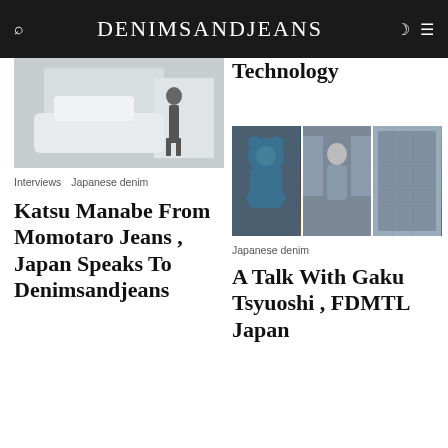DENIMSANDJEANS
[Figure (photo): Photo showing a person standing near a white car in a gallery/showroom setting]
Interviews   Japanese denim
Katsu Manabe From Momotaro Jeans , Japan Speaks To Denimsandjeans
Technology
[Figure (photo): Three-panel photo strip: left shows a blue bear figurine/toy, center shows a man standing among clothing racks, right shows close-up of denim fabric]
Japanese denim
A Talk With Gaku Tsyuoshi , FDMTL Japan